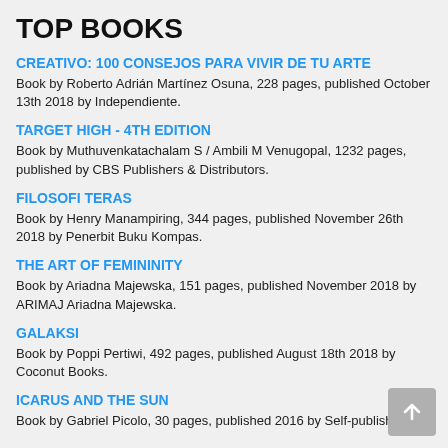TOP BOOKS
CREATIVO: 100 CONSEJOS PARA VIVIR DE TU ARTE
Book by Roberto Adrián Martínez Osuna, 228 pages, published October 13th 2018 by Independiente.
TARGET HIGH - 4TH EDITION
Book by Muthuvenkatachalam S / Ambili M Venugopal, 1232 pages, published by CBS Publishers & Distributors.
FILOSOFI TERAS
Book by Henry Manampiring, 344 pages, published November 26th 2018 by Penerbit Buku Kompas.
THE ART OF FEMININITY
Book by Ariadna Majewska, 151 pages, published November 2018 by ARIMAJ Ariadna Majewska.
GALAKSI
Book by Poppi Pertiwi, 492 pages, published August 18th 2018 by Coconut Books.
ICARUS AND THE SUN
Book by Gabriel Picolo, 30 pages, published 2016 by Self-publish.